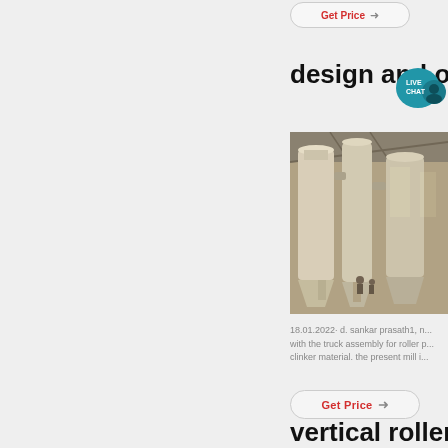design and ...
[Figure (photo): Industrial vertical roller mill machinery inside a large warehouse or factory hall, showing large cylindrical grinding equipment covered in dust/powder]
18.01.2022· d. sankar prasath1, n... with the truck assembly for roller p... clinker material. the present mill i...
vertical roller mill...